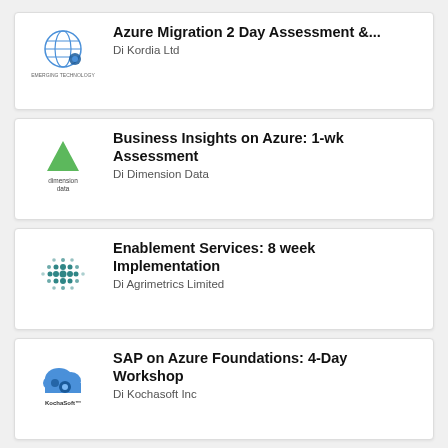Azure Migration 2 Day Assessment &... Di Kordia Ltd
Business Insights on Azure: 1-wk Assessment Di Dimension Data
Enablement Services: 8 week Implementation Di Agrimetrics Limited
SAP on Azure Foundations: 4-Day Workshop Di Kochasoft Inc